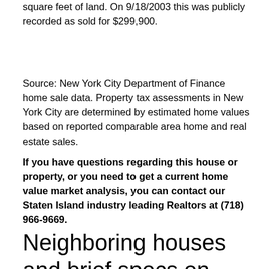square feet of land. On 9/18/2003 this was publicly recorded as sold for $299,900.
Source: New York City Department of Finance home sale data. Property tax assessments in New York City are determined by estimated home values based on reported comparable area home and real estate sales.
If you have questions regarding this house or property, or you need to get a current home value market analysis, you can contact our Staten Island industry leading Realtors at (718) 966-9669.
Neighboring houses and brief specs on